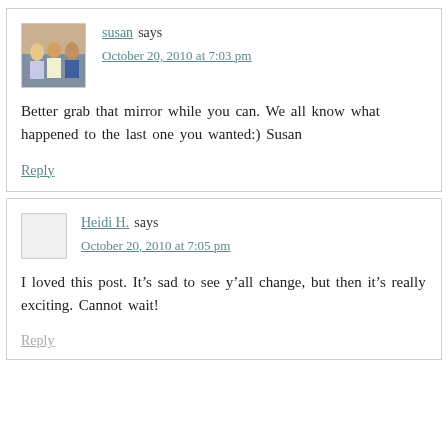susan says
October 20, 2010 at 7:03 pm
Better grab that mirror while you can. We all know what happened to the last one you wanted:) Susan
Reply
Heidi H. says
October 20, 2010 at 7:05 pm
I loved this post. It’s sad to see y’all change, but then it’s really exciting. Cannot wait!
Reply